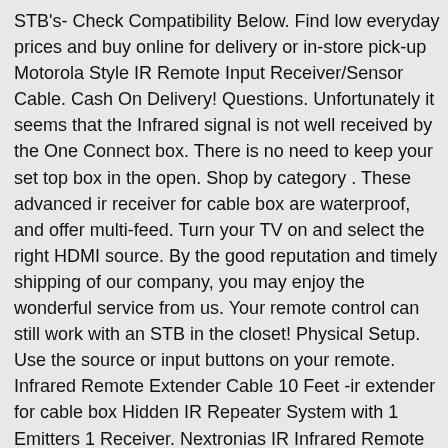STB's- Check Compatibility Below. Find low everyday prices and buy online for delivery or in-store pick-up Motorola Style IR Remote Input Receiver/Sensor Cable. Cash On Delivery! Questions. Unfortunately it seems that the Infrared signal is not well received by the One Connect box. There is no need to keep your set top box in the open. Shop by category . These advanced ir receiver for cable box are waterproof, and offer multi-feed. Turn your TV on and select the right HDMI source. By the good reputation and timely shipping of our company, you may enjoy the wonderful service from us. Your remote control can still work with an STB in the closet! Physical Setup. Use the source or input buttons on your remote. Infrared Remote Extender Cable 10 Feet -ir extender for cable box Hidden IR Repeater System with 1 Emitters 1 Receiver. Nextronias IR Infrared Remote Extender Repeater SX. When used with HDMI cables, an HDMI feed through IR adapter is needed. Beschreibung 1 Receiver 2 Universalfernbedie-nung 3HDMI-Kabel 4 Netzteil mit Kabel 5 Installationsanleitung und grundlegende Informationen 6 Antennenkabel. For the remote. materials available There is no better Receiver from any competitor at any price